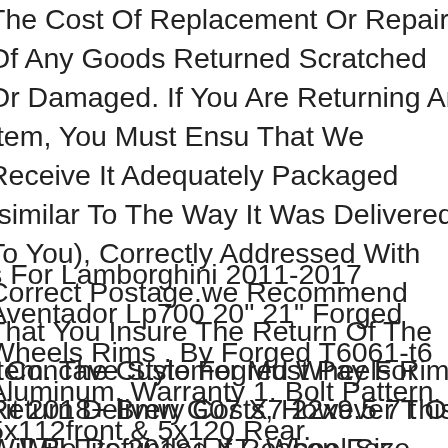The Cost Of Replacement Or Repair Of Any Goods Returned Scratched Or Damaged. If You Are Returning An Item, You Must Ensure That We Receive It Adequately Packaged (similar To The Way It Was Delivered To You), Correctly Addressed With Correct Postage.we Recommend That You Insure The Return Of The Item. The Customer Must Pay For Return Delivery Costs, However This Will Be Refunded If Reason For Return Is No Fault Of Customer. The Customer Must Inform Of Any Returns Within 7 Working Days Of Receipt Of Goods. Please Check Goods Upon.
s For Lamborghini 2011-2017 Aventador Lp700 20" 21" Forged Wheels Rims . By Forged T6061-t6 Aluminum. Warranty 1. Bolt Pattern 112front & 5x120 Rear.
" Concave Style Fogred Wheels Rim Fit 2018+ Bmw G07 X7 22x9.5 75 t Of 4. Will Fits 2018+ X7. Wheel Size 22x9.5. Warranty 1. By Real Cr rged T6061-t6 Aluminum.
r Hyundai Veloster 2011-2016 Dry Carbon Fiber Front Engine Hood ower Trim 1pc. Veloster 2011-2017. Fit For Hyundai Veloster 2011-16. For Hyundai. Material Made Of High Quality Carbon Fiber. For